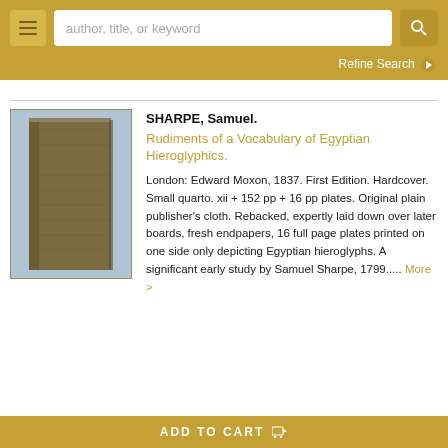author, title, or keyword [search bar]
Refine Search
SHARPE, Samuel. Rudiments of a Vocabulary of Egyptian Hieroglyphics. London: Edward Moxon, 1837. First Edition. Hardcover. Small quarto. xii + 152 pp + 16 pp plates. Original plain publisher's cloth. Rebacked, expertly laid down over later boards, fresh endpapers, 16 full page plates printed on one side only depicting Egyptian hieroglyphs. A significant early study by Samuel Sharpe, 1799..... More >
[Figure (photo): Photo of a brown cloth-bound book standing upright, viewed from the spine side, against a light blue-grey background.]
ADD TO CART